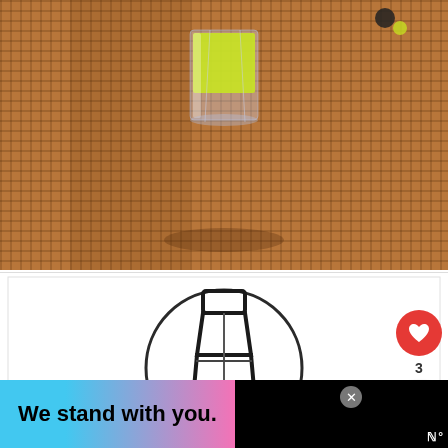[Figure (photo): A glass with yellow-green liquid on a wicker/rattan textured surface, with small decorative items visible]
[Figure (illustration): Black and white icon of a cocktail shaker inside a circle on a white background]
[Figure (infographic): UI overlay elements: red heart like button, count of 3, share button, and a 'What's Next' panel showing Harrovian Cocktail...]
We stand with you.
[Figure (logo): Advertisement banner with pink/blue gradient background and the text 'We stand with you.' in bold black, with close button and logo]